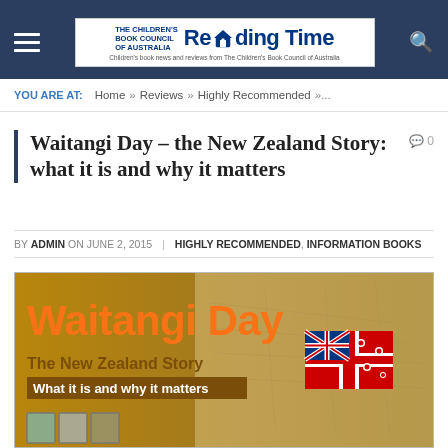THE CHILDREN'S BOOK COUNCIL OF AUSTRALIA — Reading Time | Children's book news and reviews from The Children's Book Council of Australia
YOU ARE AT: Home » Reviews » Highly Recommended »...
Waitangi Day – the New Zealand Story: what it is and why it matters
BY ADMIN ON JUNE 2, 2015 | HIGHLY RECOMMENDED, INFORMATION BOOKS
[Figure (illustration): Book cover of 'Waitangi Day: The New Zealand Story – What it is and why it matters' showing large orange title text, subtitle in brown, a New Zealand flag, an old map background, and postage stamps at the bottom left]